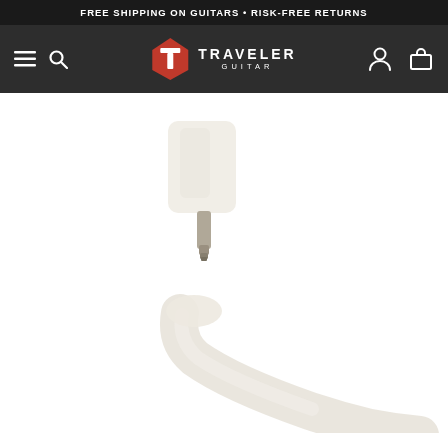FREE SHIPPING ON GUITARS • RISK-FREE RETURNS
[Figure (logo): Traveler Guitar logo with red T-shaped emblem and white text 'TRAVELER GUITAR' in the navigation bar]
[Figure (photo): Close-up product photo of a white/cream colored guitar tuning peg or machine head component, showing a plastic knob on top and a metal shaft/pin below, with another curved white plastic component below, on a white background]